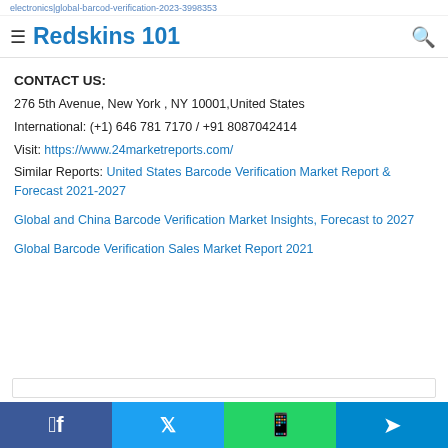electronics|global-barcode-verification-2023-3998353
≡ Redskins 101 🔍
CONTACT US:
276 5th Avenue, New York , NY 10001,United States
International: (+1) 646 781 7170 / +91 8087042414
Visit: https://www.24marketreports.com/
Similar Reports: United States Barcode Verification Market Report & Forecast 2021-2027
Global and China Barcode Verification Market Insights, Forecast to 2027
Global Barcode Verification Sales Market Report 2021